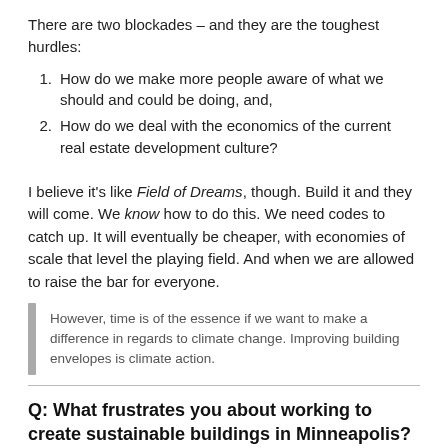There are two blockades – and they are the toughest hurdles:
How do we make more people aware of what we should and could be doing, and,
How do we deal with the economics of the current real estate development culture?
I believe it's like Field of Dreams, though. Build it and they will come. We know how to do this. We need codes to catch up. It will eventually be cheaper, with economies of scale that level the playing field. And when we are allowed to raise the bar for everyone.
However, time is of the essence if we want to make a difference in regards to climate change. Improving building envelopes is climate action.
Q: What frustrates you about working to create sustainable buildings in Minneapolis?